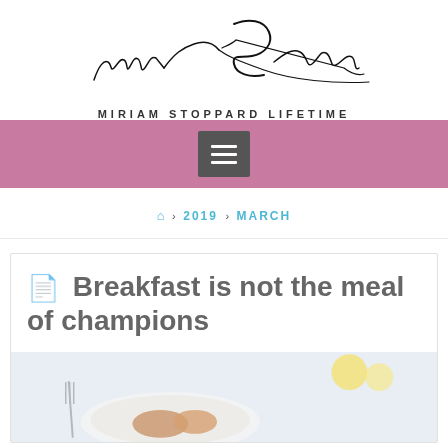[Figure (logo): Miriam Stoppard signature logo in cursive handwriting]
MIRIAM STOPPARD LIFETIME
[Figure (other): Pink navigation bar with hamburger menu button]
🏠 › 2019 › MARCH
Breakfast is not the meal of champions
[Figure (photo): Partial photo of a breakfast plate with food items on a light background]